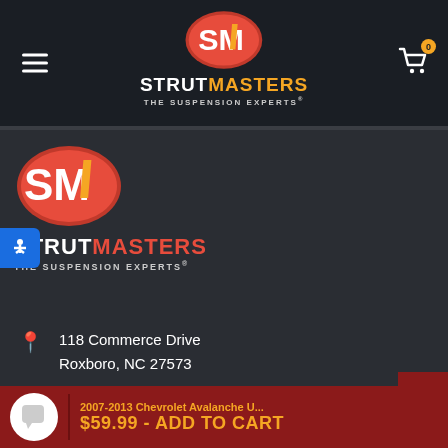[Figure (logo): StrutMasters logo in top navigation bar: red oval with SM letters and text STRUTMASTERS THE SUSPENSION EXPERTS]
[Figure (logo): StrutMasters large logo: red oval with SM letters and STRUTMASTERS THE SUSPENSION EXPERTS text below]
118 Commerce Drive
Roxboro, NC 27573
Sales: 866-597-2397
Tech: 866-998-8737
SALES
2007-2013 Chevrolet Avalanche U...
$59.99 - ADD TO CART